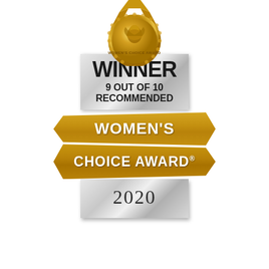[Figure (logo): Women's Choice Award 2020 badge. A gold medallion at top, silver banner reading WINNER / 9 OUT OF 10 / RECOMMENDED, two gold diagonal ribbons reading WOMEN'S and CHOICE AWARD with registered trademark, and a silver footer reading 2020.]